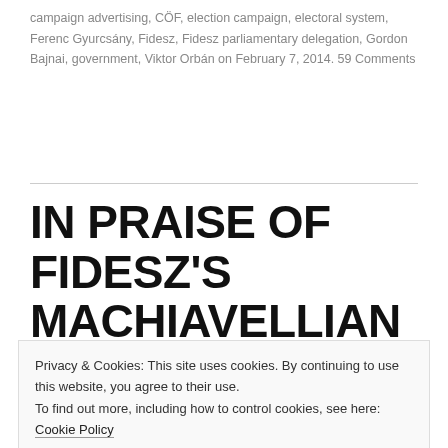campaign advertising, CÖF, election campaign, electoral system, Ferenc Gyurcsány, Fidesz, Fidesz parliamentary delegation, Gordon Bajnai, government, Viktor Orbán on February 7, 2014. 59 Comments
IN PRAISE OF FIDESZ'S MACHIAVELLIAN TALENTS
Here is a good example of what I'm talking about. The electoral law that was originally submitted in September 2012 was immediately
Privacy & Cookies: This site uses cookies. By continuing to use this website, you agree to their use. To find out more, including how to control cookies, see here: Cookie Policy
advantage in the race.